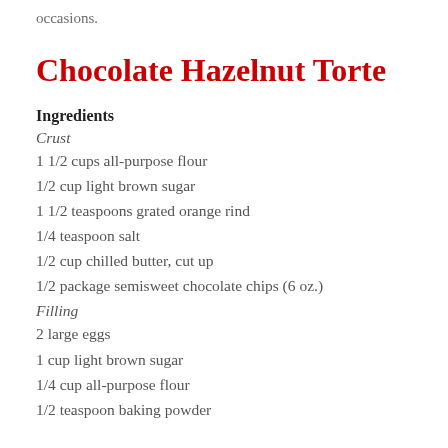occasions.
Chocolate Hazelnut Torte
Ingredients
Crust
1 1/2 cups all-purpose flour
1/2 cup light brown sugar
1 1/2 teaspoons grated orange rind
1/4 teaspoon salt
1/2 cup chilled butter, cut up
1/2 package semisweet chocolate chips (6 oz.)
Filling
2 large eggs
1 cup light brown sugar
1/4 cup all-purpose flour
1/2 teaspoon baking powder